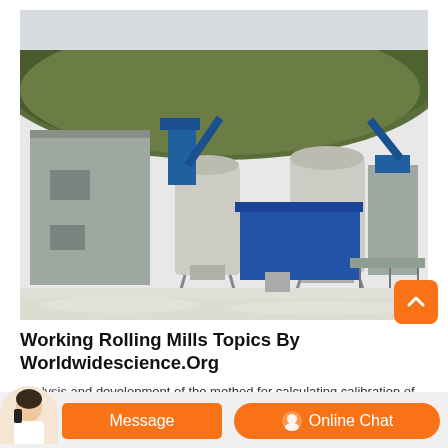[Figure (photo): Industrial milling facility with large concrete silos, blue metal structures, and a hillside with trees in the background. The foreground shows a white dusty ground area.]
Working Rolling Mills Topics By Worldwidescience.Org
analysis and development of the method for calculating calibration of the
of rolling the accuracy of acting in the area of self x y and z